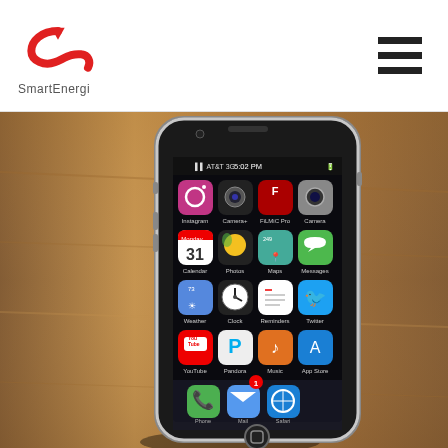SmartEnergi
[Figure (photo): Photograph of an iPhone 4 standing upright on a wooden surface, showing the home screen with apps including Instagram, Camera+, FiLMiC Pro, Camera, Calendar (Monday 31), Photos, Maps, Messages, Weather (73), Clock, Reminders, Twitter, YouTube, Pandora, Music, App Store, Phone, Mail, Safari. Status bar shows AT&T 3G and 5:02 PM.]